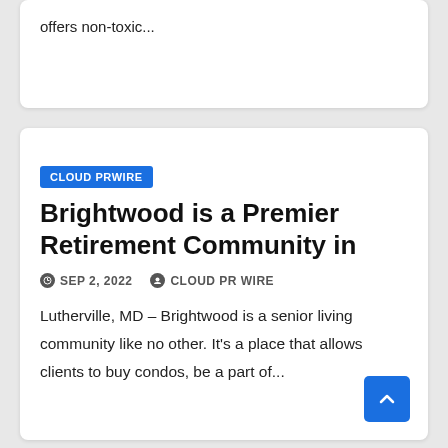offers non-toxic...
CLOUD PRWIRE
Brightwood is a Premier Retirement Community in
SEP 2, 2022   CLOUD PR WIRE
Lutherville, MD – Brightwood is a senior living community like no other. It's a place that allows clients to buy condos, be a part of...